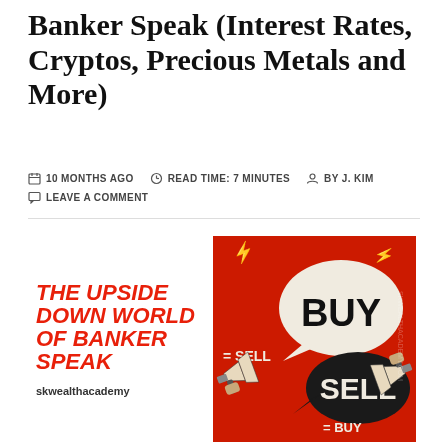Banker Speak (Interest Rates, Cryptos, Precious Metals and More)
10 MONTHS AGO   READ TIME: 7 MINUTES   BY J. KIM   LEAVE A COMMENT
[Figure (illustration): Promotional graphic for 'The Upside Down World of Banker Speak' by skwealthacademy. Left side shows bold red italic text on white background with 'THE UPSIDE DOWN WORLD OF BANKER SPEAK' and 'skwealthacademy'. Right side shows a red background with megaphones and speech bubbles: 'BUY = SELL' and 'SELL = BUY'.]